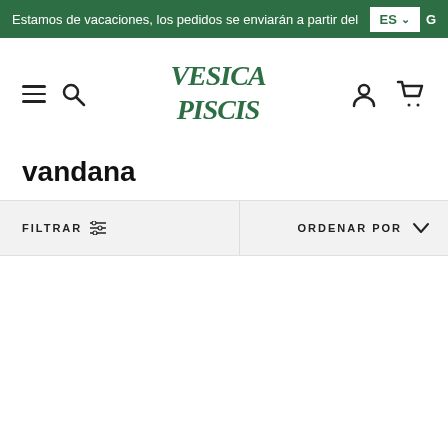Estamos de vacaciones, los pedidos se enviarán a partir del 29 d
[Figure (logo): Vesica Piscis brand logo in green stylized lettering]
vandana
FILTRAR  ORDENAR POR